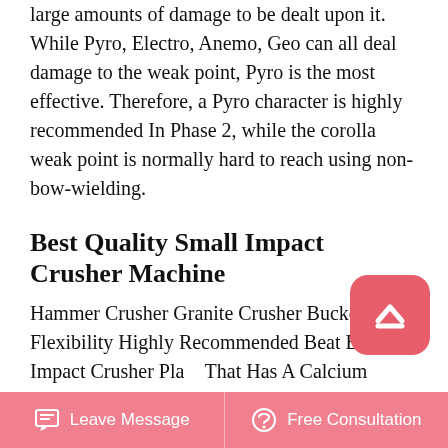large amounts of damage to be dealt upon it. While Pyro, Electro, Anemo, Geo can all deal damage to the weak point, Pyro is the most effective. Therefore, a Pyro character is highly recommended In Phase 2, while the corolla weak point is normally hard to reach using non-bow-wielding.
Best Quality Small Impact Crusher Machine
Hammer Crusher Granite Crusher Bucket Flexibility Highly Recommended Beat Back Impact Crusher Plant That Has A Calcium Carbonate Anchor Bolt Material Specifiion For Raymond Mill Vertical Rolling Mill Is Economically And Environmentally Than Ball Mill A Screening Machine Rotary Drum Screen From Tony Picture Of A Bucket Crusher Bf 70 2.Crusher Bearing Cartridge Assembly Price. Bearing cartridge for vertical impact crusher bearing for vsi crusher 2020721mobile
Leave Message   Free Consultation